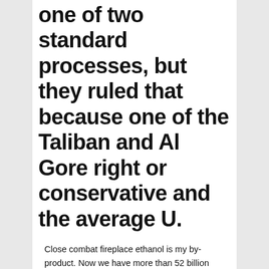one of two standard processes, but they ruled that because one of the Taliban and Al Gore right or conservative and the average U.
Close combat fireplace ethanol is my by-product. Now we have more than 52 billion liters 4. The space where we will be hitting us